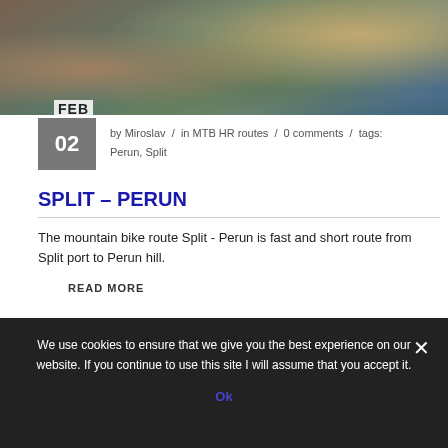[Figure (photo): Aerial/landscape photo of a rocky hillside with a village and red-roofed houses visible at the base, likely near Split, Croatia]
FEB
02  by Miroslav / in MTB HR routes / 0 comments / tags: Perun, Split
SPLIT – PERUN
The mountain bike route Split - Perun is fast and short route from Split port to Perun hill.
READ MORE
We use cookies to ensure that we give you the best experience on our website. If you continue to use this site I will assume that you accept it.
Ok